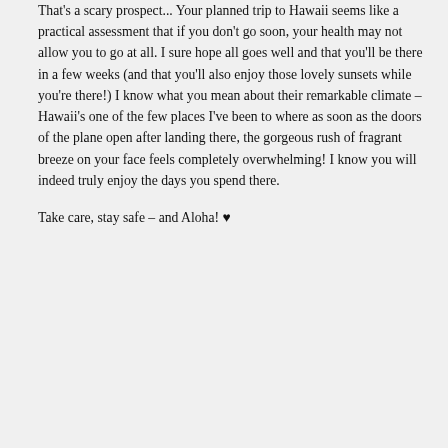That's a scary prospect... Your planned trip to Hawaii seems like a practical assessment that if you don't go soon, your health may not allow you to go at all. I sure hope all goes well and that you'll be there in a few weeks (and that you'll also enjoy those lovely sunsets while you're there!) I know what you mean about their remarkable climate – Hawaii's one of the few places I've been to where as soon as the doors of the plane open after landing there, the gorgeous rush of fragrant breeze on your face feels completely overwhelming! I know you will indeed truly enjoy the days you spend there.
Take care, stay safe – and Aloha! ♥